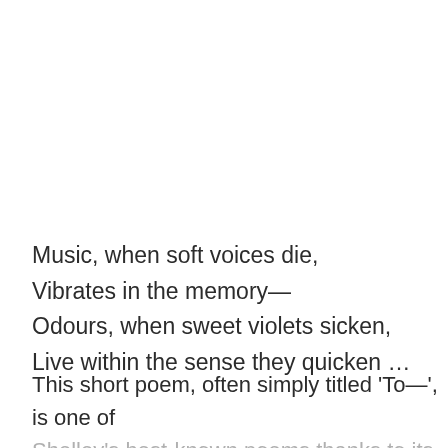Music, when soft voices die,
Vibrates in the memory—
Odours, when sweet violets sicken,
Live within the sense they quicken …
This short poem, often simply titled 'To—', is one of Shelley's best-known poems thanks to its opening line. "Music, when soft voices die" (the opening is
Shelley's best-known poems thanks to its opening